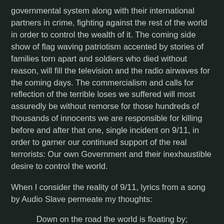governmental system along with their international partners in crime, fighting against the rest of the world in order to control the wealth of it. The coming side show of flag waving patriotism accented by stories of families torn apart and soldiers who died without reason, will fill the television and the radio airwaves for the coming days. The commercialism and calls for reflection of the terrible loses we suffered will most assuredly be without remorse for those hundreds of thousands of innocents we are responsible for killing before and after that one, single incident on 9/11, in order to garner our continued support of the real terrorists: Our own Government and their inexhaustible desire to control the world.
When I consider the reality of 9/11, lyrics from a song by Audio Slave permeate my thoughts:
Down on the road the world is floating by;
The poor and undefended left behind.
While your somewhere trading lives for oil
as if the whole world were blind